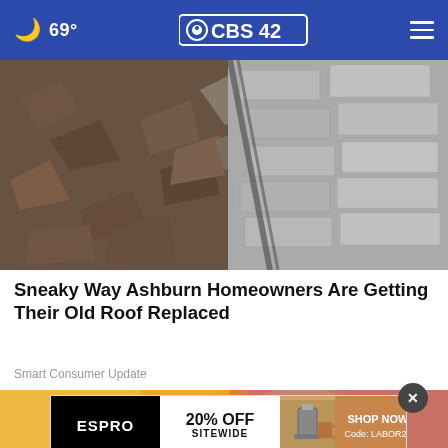69° CBS42
[Figure (photo): Damaged roof with broken shingles and debris visible, showing roof damage with gray and brown tones]
Sneaky Way Ashburn Homeowners Are Getting Their Old Roof Replaced
Smart Consumer Update
[Figure (photo): Close-up of hands holding a yellow envelope or material, partially visible]
[Figure (screenshot): Advertisement banner: ESPRO | 20% OFF SITEWIDE | product image | SHOP NOW Code: LABOR22]